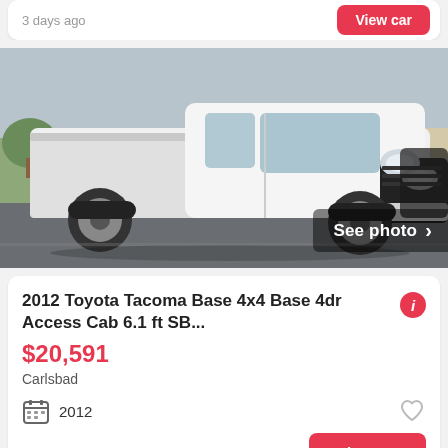3 days ago
View car
[Figure (photo): White 2012 Toyota Tacoma Base 4x4 pickup truck, Access Cab, photographed from the front-left angle on a road with buildings in background. 'See photo >' overlay in bottom-right corner.]
2012 Toyota Tacoma Base 4x4 Base 4dr Access Cab 6.1 ft SB...
$20,591
Carlsbad
2012
30+ days ago
View car